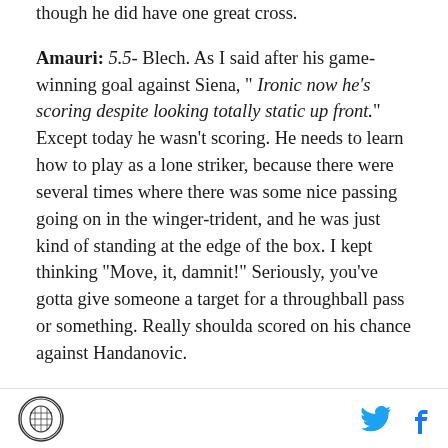though he did have one great cross.
Amauri: 5.5- Blech. As I said after his game-winning goal against Siena, " Ironic now he's scoring despite looking totally static up front." Except today he wasn't scoring. He needs to learn how to play as a lone striker, because there were several times where there was some nice passing going on in the winger-trident, and he was just kind of standing at the edge of the box. I kept thinking "Move, it, damnit!" Seriously, you've gotta give someone a target for a throughball pass or something. Really shoulda scored on his chance against Handanovic.
Here is where WordPress decided to eat the rest of my
Logo and social media icons